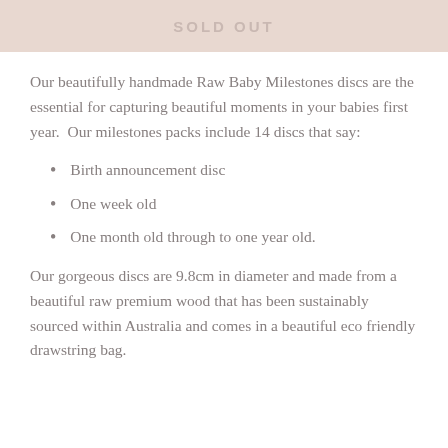SOLD OUT
Our beautifully handmade Raw Baby Milestones discs are the essential for capturing beautiful moments in your babies first year.  Our milestones packs include 14 discs that say:
Birth announcement disc
One week old
One month old through to one year old.
Our gorgeous discs are 9.8cm in diameter and made from a beautiful raw premium wood that has been sustainably sourced within Australia and comes in a beautiful eco friendly drawstring bag.